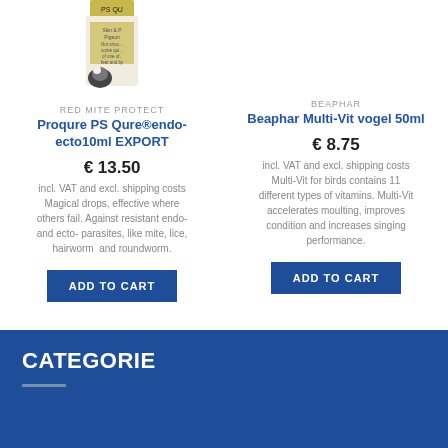[Figure (photo): Product bottle image partially visible at top of left column - PS Qure product]
RED MITE PROTECT
Proqure PS Qure®endo-ecto10ml EXPORT
€ 13.50
incl. VAT and excl. shipping costs Magical drops, effective where others fail. Against resistant endo- and ecto- parasites, like mite, lice, hairworm and roundworm.
ADD TO CART
BEAPHAR
Beaphar Multi-Vit vogel 50ml
€ 8.75
incl. VAT and excl. shipping costs Multi-Vit for birds contains 11 different types of vitamins. Multi-Vit accelerates moulting, improves condition and increases singing performance.
ADD TO CART
CATEGORIE